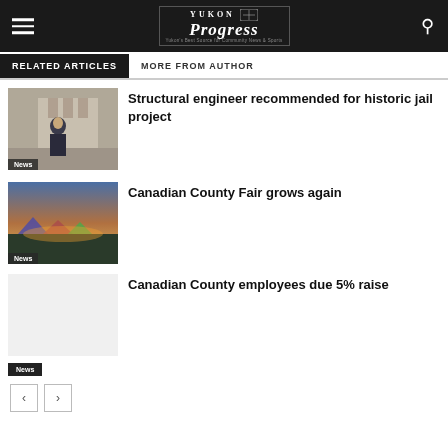Yukon Progress
RELATED ARTICLES
MORE FROM AUTHOR
[Figure (photo): Man in suit standing outside historic building]
News
Structural engineer recommended for historic jail project
[Figure (photo): Aerial view of fairgrounds at sunset]
News
Canadian County Fair grows again
Canadian County employees due 5% raise
News